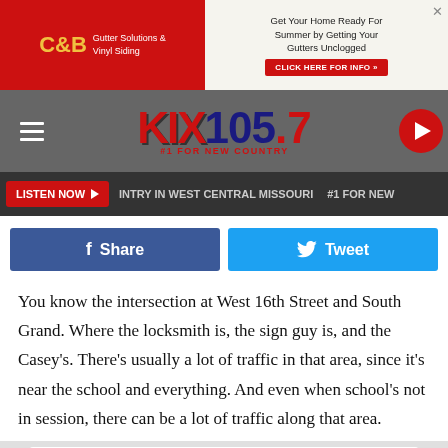[Figure (screenshot): C&B Gutter Solutions & Vinyl Siding advertisement banner (red background left, white right with text 'Get Your Home Ready for Summer by Getting Your Gutters Unclogged' and red button 'CLICK HERE FOR INFO »')]
[Figure (logo): KIX 105.7 #1 FOR NEW COUNTRY radio station logo on grey navigation bar with hamburger menu and red play button]
[Figure (screenshot): Navigation bar with red LISTEN NOW button, text 'INTRY IN WEST CENTRAL MISSOURI', '#1 FOR NEW' on dark background]
[Figure (screenshot): Social share buttons: blue Facebook Share button and cyan Twitter Tweet button]
You know the intersection at West 16th Street and South Grand. Where the locksmith is, the sign guy is, and the Casey's.  There's usually a lot of traffic in that area, since it's near the school and everything.  And even when school's not in session, there can be a lot of traffic along that area.
[Figure (screenshot): BTC Bank advertisement: 'BTC BANK Community Minded...Just Like You' with person studying, 'Access Your Account Anywhere. Anytime.' and blue LEARN MORE button, Member FDIC badge]